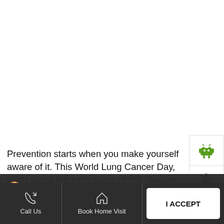Prevention starts when you make yourself aware of it. This World Lung Cancer Day, learn about the early signs of this disease. To #LetYourLungsBreathe, get yourself tested today. Book a lung screening test with us – call 9982-782-555 or visit- https://[...apolloindia.com/] #WorldLungCancerDay2022 #WorldCancerDay
[Figure (screenshot): Cookie Information overlay on a medical website. Shows cookie consent dialog with text about third-party services, along with Android and Apple app store side buttons, and a bottom navigation bar with Call Us, Book Home Visit, and Directions plus I ACCEPT button.]